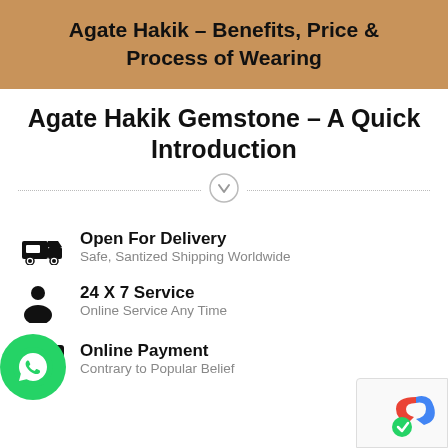Agate Hakik – Benefits, Price & Process of Wearing
Agate Hakik Gemstone – A Quick Introduction
[Figure (infographic): Decorative divider line with a downward arrow circle icon in the center]
Open For Delivery — Safe, Santized Shipping Worldwide
24 X 7 Service — Online Service Any Time
Online Payment — Contrary to Popular Belief
[Figure (logo): WhatsApp green circle button icon, bottom left]
[Figure (other): Google reCAPTCHA badge, bottom right]